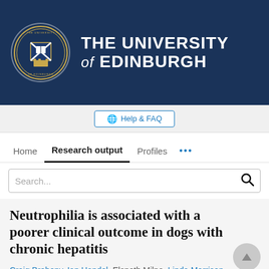[Figure (logo): The University of Edinburgh logo banner with circular crest and university name in white on dark navy blue background]
Help & FAQ
Home  Research output  Profiles  ...
Search...
Neutrophilia is associated with a poorer clinical outcome in dogs with chronic hepatitis
Craig Breheny, Ian Handel, Elspeth Milne, Linda Morrison,